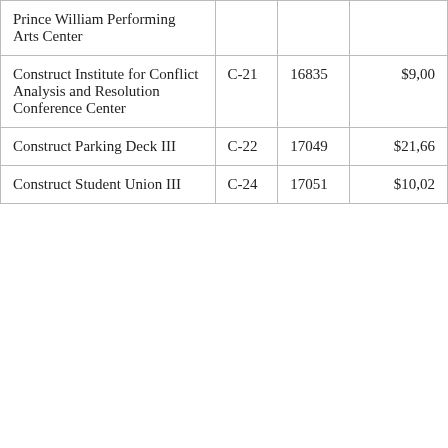| Prince William Performing Arts Center |  |  |  |
| Construct Institute for Conflict Analysis and Resolution Conference Center | C-21 | 16835 | $9,00 |
| Construct Parking Deck III | C-22 | 17049 | $21,66 |
| Construct Student Union III | C-24 | 17051 | $10,02 |